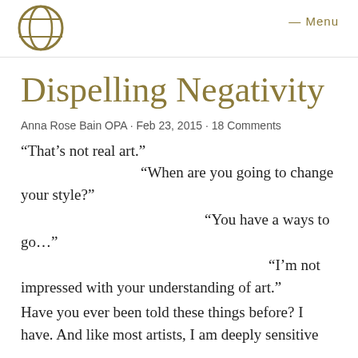Menu
Dispelling Negativity
Anna Rose Bain OPA · Feb 23, 2015 · 18 Comments
“That’s not real art.”
“When are you going to change your style?”
“You have a ways to go…”
“I’m not impressed with your understanding of art.”
Have you ever been told these things before? I have. And like most artists, I am deeply sensitive